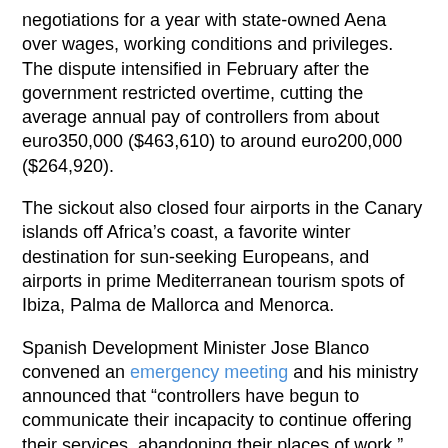negotiations for a year with state-owned Aena over wages, working conditions and privileges. The dispute intensified in February after the government restricted overtime, cutting the average annual pay of controllers from about euro350,000 ($463,610) to around euro200,000 ($264,920).
The sickout also closed four airports in the Canary islands off Africa's coast, a favorite winter destination for sun-seeking Europeans, and airports in prime Mediterranean tourism spots of Ibiza, Palma de Mallorca and Menorca.
Spanish Development Minister Jose Blanco convened an emergency meeting and his ministry announced that “controllers have begun to communicate their incapacity to continue offering their services, abandoning their places of work.” Blanco later told reporters that authorities were forced to close airspace around Madrid for safety reasons.
“We won’t permit this blackmail that they are using to turn citizens into hostages,” Blanco said
The controllers’ union has complained for weeks that many members have already worked their maximum hours for all of 2010, and that all 2,000 are overworked and understaffed. Friday’s night statement suggested that the